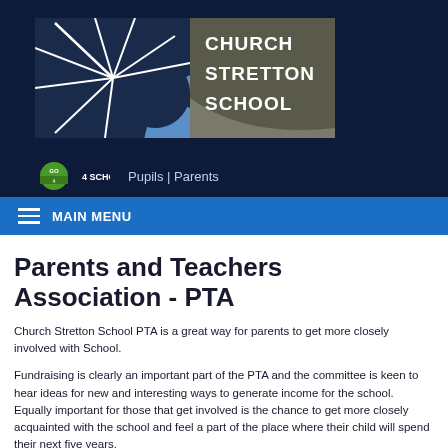[Figure (logo): Church Stretton School logo with geometric starburst and blue/grey color blocks and white text]
[Figure (logo): Go 4 Schools green badge logo with text 'GO 4 SCHOOLS' followed by 'Pupils | Parents' navigation link]
MAIN MENU
Parents and Teachers Association - PTA
Church Stretton School PTA is a great way for parents to get more closely involved with School.
Fundraising is clearly an important part of the PTA and the committee is keen to hear ideas for new and interesting ways to generate income for the school. Equally important for those that get involved is the chance to get more closely acquainted with the school and feel a part of the place where their child will spend their next five years.